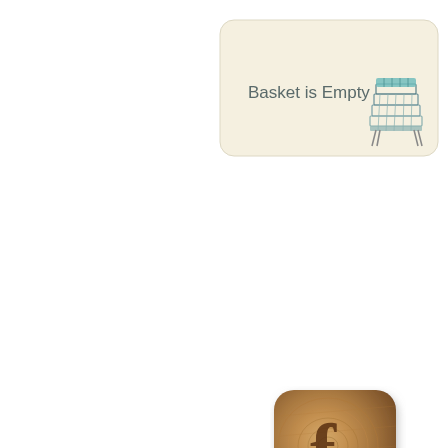[Figure (screenshot): A rounded rectangle widget with beige/cream background showing 'Basket is Empty' text on the left and a shopping basket icon (wireframe style, teal/gray colored stacked layers) on the right.]
[Figure (logo): A wood-grain textured square icon with rounded corners, showing a carved Facebook 'f' logo in darker wood grain. The icon has a slight drop shadow.]